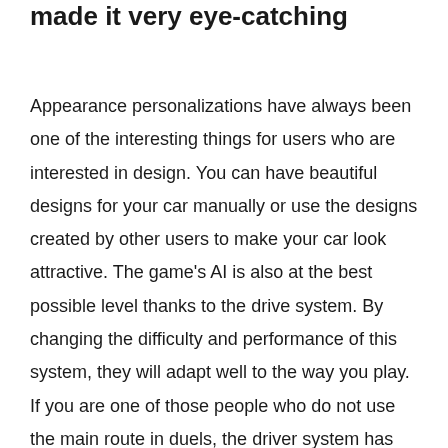made it very eye-catching
Appearance personalizations have always been one of the interesting things for users who are interested in design. You can have beautiful designs for your car manually or use the designs created by other users to make your car look attractive. The game's AI is also at the best possible level thanks to the drive system. By changing the difficulty and performance of this system, they will adapt well to the way you play. If you are one of those people who do not use the main route in duels, the driver system has learned this well and may be used in a bad duel against you.